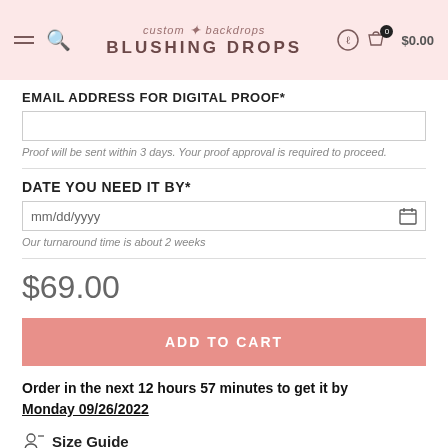custom backdrops BLUSHING DROPS
EMAIL ADDRESS FOR DIGITAL PROOF*
Proof will be sent within 3 days. Your proof approval is required to proceed.
DATE YOU NEED IT BY*
Our turnaround time is about 2 weeks
$69.00
ADD TO CART
Order in the next 12 hours 57 minutes to get it by Monday 09/26/2022
Size Guide